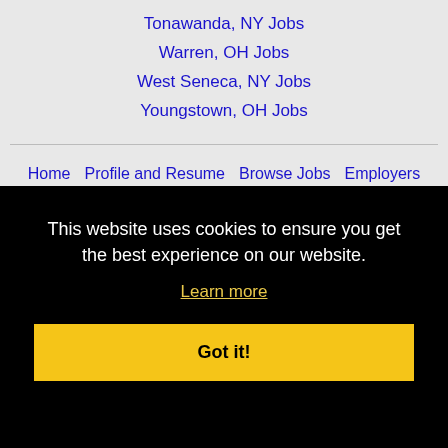Tonawanda, NY Jobs
Warren, OH Jobs
West Seneca, NY Jobs
Youngstown, OH Jobs
Home  Profile and Resume  Browse Jobs  Employers  Other Cities  Clients List  About Us  Contact Us  Help  Terms of Use  Register / Log In
obs
This website uses cookies to ensure you get the best experience on our website. Learn more Got it!